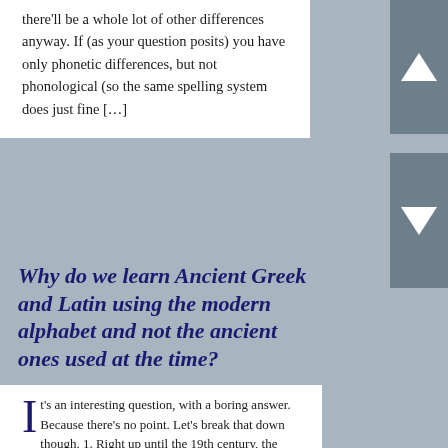there'll be a whole lot of other differences anyway. If (as your question posits) you have only phonetic differences, but not phonological (so the same spelling system does just fine […]
Why do we learn Ancient Greek and Latin using the modern alphabet and not the ancient ones used at the time?
By: Nick Nicholas | Post date: 2016-02-13 | Comments: No Comments
Posted in categories: Ancient Greek, Writing Systems
It's an interesting question, with a boring answer. Because there's no point. Let's break that down though. 1. Right up until the 19th century, the main language being written in Greek script was Ancient Greek; and right up until the 17th, the main language being written in Roman script was Latin. The script had and […]